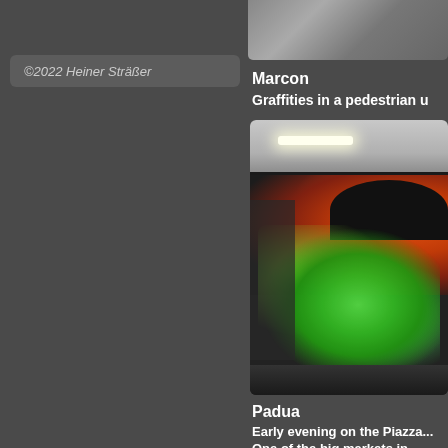[Figure (photo): Top portion of a photo visible on right side, cropped, showing a street or outdoor scene]
©2022 Heiner Sträßer
Marcon
Graffities in a pedestrian u...
[Figure (photo): Photograph of colorful graffiti murals covering curved walls of a pedestrian underpass, with fluorescent ceiling lights, green/orange/black abstract spray paint designs]
Padua
Early evening on the Piazza...
One of the big markets in...
Palazzo della Ragione. Qui...